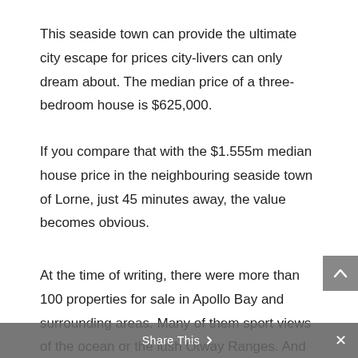This seaside town can provide the ultimate city escape for prices city-livers can only dream about. The median price of a three-bedroom house is $625,000.
If you compare that with the $1.555m median house price in the neighbouring seaside town of Lorne, just 45 minutes away, the value becomes obvious.
At the time of writing, there were more than 100 properties for sale in Apollo Bay and surrounding areas. Many of them sport views of the ocean or the lush Otway Ranges. And within that property
Share This ×